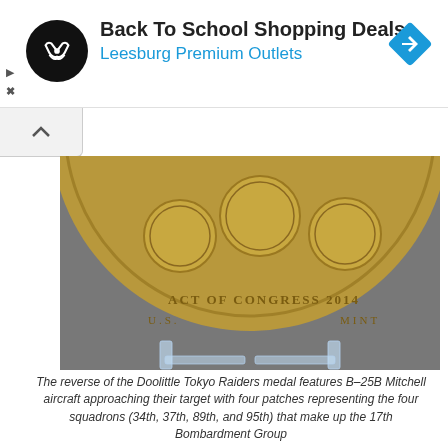[Figure (other): Advertisement banner: Back To School Shopping Deals at Leesburg Premium Outlets with logo and arrow icon]
[Figure (photo): The reverse side of the Doolittle Tokyo Raiders congressional medal showing B-25B Mitchell aircraft and four squadron patches, displayed on a clear acrylic stand. Text visible: ACT OF CONGRESS 2014, U.S. MINT]
The reverse of the Doolittle Tokyo Raiders medal features B–25B Mitchell aircraft approaching their target with four patches representing the four squadrons (34th, 37th, 89th, and 95th) that make up the 17th Bombardment Group
Photos of 65th Infantry Regiment "Borinqueneers" 3-Inch Bronze Medal
10
[Figure (photo): Two partial views of the 65th Infantry Regiment Borinqueneers 3-Inch Bronze Medal showing both sides of the coin]